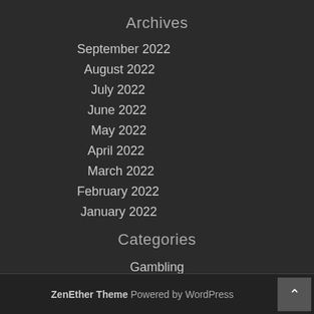Archives
September 2022
August 2022
July 2022
June 2022
May 2022
April 2022
March 2022
February 2022
January 2022
Categories
Gambling
ZenEther Theme Powered by WordPress